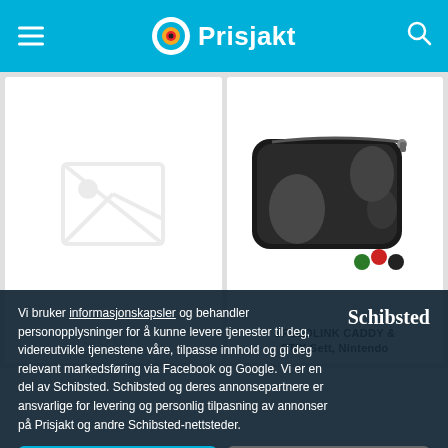Prisjakt
[Figure (screenshot): Two product cards: left card shows a broken image placeholder, right card shows SPEEDLINK CADDY & STIX Sett Nintendo Switch product image with carrying case and thumb grips]
Vi bruker informasjonskapsler og behandler personopplysninger for å kunne levere tjenester til deg, videreutvikle tjenestene våre, tilpasse innhold og gi deg relevant markedsføring via Facebook og Google. Vi er en del av Schibsted. Schibsted og deres annonsepartnere er ansvarlige for levering og personlig tilpasning av annonser på Prisjakt og andre Schibsted-nettsteder.
Godta
Mine valg